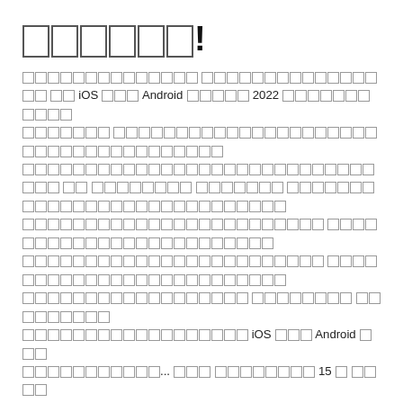▯▯▯▯▯▯!
▯▯▯▯▯▯▯▯▯▯▯▯▯▯ ▯▯▯▯▯▯▯▯▯▯▯▯▯▯▯▯ ▯▯ iOS ▯▯▯ Android ▯▯▯▯▯ 2022 ▯▯▯▯▯▯▯▯▯▯▯ ▯▯▯▯▯▯▯ ▯▯▯▯▯▯▯▯▯▯▯▯▯▯▯▯▯▯▯▯▯▯▯▯▯▯▯ ▯▯▯▯▯▯▯▯▯▯▯▯▯▯▯▯▯▯▯▯▯▯▯▯▯▯▯▯▯▯▯ ▯▯▯▯▯▯▯▯ ▯▯ ▯▯▯▯▯▯▯▯ ▯▯▯▯▯▯▯ ▯▯▯▯▯▯▯▯▯▯▯▯▯▯▯▯▯▯▯▯▯▯▯▯▯▯▯▯▯▯▯▯▯▯▯▯▯▯▯▯▯▯▯▯▯▯▯▯▯▯▯ ▯▯▯▯▯▯▯▯▯▯▯▯▯▯▯▯▯▯▯▯▯▯▯▯▯▯▯▯▯▯▯▯▯▯▯▯▯▯▯▯▯▯▯▯▯▯▯▯▯▯▯ ▯▯▯▯▯▯▯▯▯▯▯▯▯▯▯▯▯▯▯▯▯▯▯▯▯▯ ▯▯▯▯▯▯▯▯▯▯▯▯▯▯▯▯▯▯▯▯▯▯▯▯▯▯▯▯▯▯▯▯▯▯▯▯▯▯▯▯ iOS ▯▯▯ Android ▯▯▯ ▯▯▯▯▯▯▯▯▯▯▯▯... ▯▯▯ ▯▯▯▯▯▯▯▯ 15 ▯ ▯▯▯▯ ▯▯▯▯▯▯▯▯▯▯▯▯▯▯▯▯▯▯▯▯▯▯▯▯▯▯▯▯▯▯▯▯▯▯▯▯▯▯▯▯▯ ▯▯ ▯▯▯▯▯▯▯▯▯▯▯▯▯ ▯▯▯▯▯▯▯▯▯▯▯▯▯▯▯▯▯▯▯▯▯▯▯▯▯▯▯▯▯▯▯▯▯▯▯▯▯▯▯▯▯▯▯▯▯▯▯▯▯▯▯▯▯▯▯▯▯▯▯▯▯▯▯▯▯▯▯▯▯▯▯▯▯▯▯▯▯ ▯▯▯▯▯▯▯▯▯▯▯▯ ▯▯▯▯▯▯▯▯ ▯▯▯▯▯▯▯▯▯▯▯▯▯▯▯▯▯▯▯▯▯▯▯▯▯▯▯▯ ▯▯▯ ▯▯▯▯▯▯▯▯▯▯▯▯▯▯▯▯▯▯▯▯▯▯ ▯▯▯▯▯▯▯▯▯▯ ▯▯▯▯▯